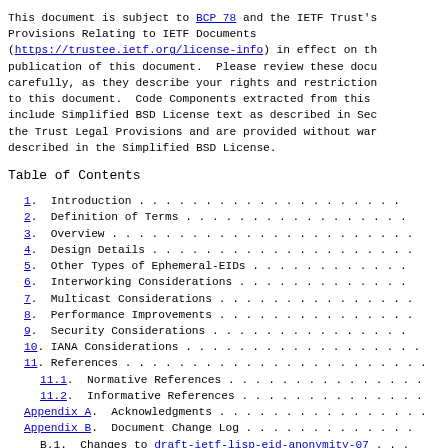This document is subject to BCP 78 and the IETF Trust's Provisions Relating to IETF Documents (https://trustee.ietf.org/license-info) in effect on the publication of this document.  Please review these documents carefully, as they describe your rights and restrictions with respect to this document.  Code Components extracted from this document include Simplified BSD License text as described in Section 4.e of the Trust Legal Provisions and are provided without warranty as described in the Simplified BSD License.
Table of Contents
1.  Introduction
2.  Definition of Terms
3.  Overview
4.  Design Details
5.  Other Types of Ephemeral-EIDs
6.  Interworking Considerations
7.  Multicast Considerations
8.  Performance Improvements
9.  Security Considerations
10. IANA Considerations
11. References
11.1.  Normative References
11.2.  Informative References
Appendix A.  Acknowledgments
Appendix B.  Document Change Log
B.1.  Changes to draft-ietf-lisp-eid-anonymity-07